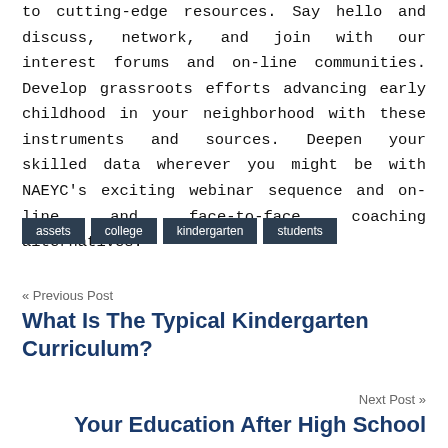to cutting-edge resources. Say hello and discuss, network, and join with our interest forums and on-line communities. Develop grassroots efforts advancing early childhood in your neighborhood with these instruments and sources. Deepen your skilled data wherever you might be with NAEYC's exciting webinar sequence and on-line and face-to-face coaching alternatives.
assets
college
kindergarten
students
« Previous Post
What Is The Typical Kindergarten Curriculum?
Next Post »
Your Education After High School